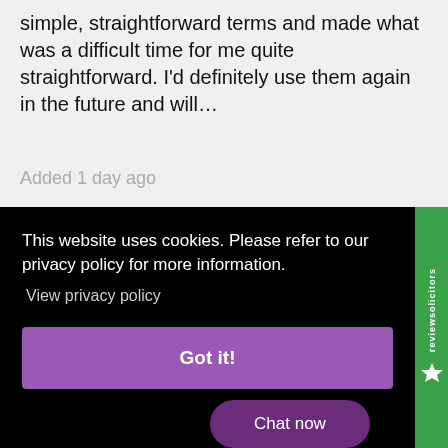simple, straightforward terms and made what was a difficult time for me quite straightforward. I'd definitely use them again in the future and will...
Added 1 day ago
This website uses cookies. Please refer to our privacy policy for more information.
View privacy policy
Got it!
Chat now